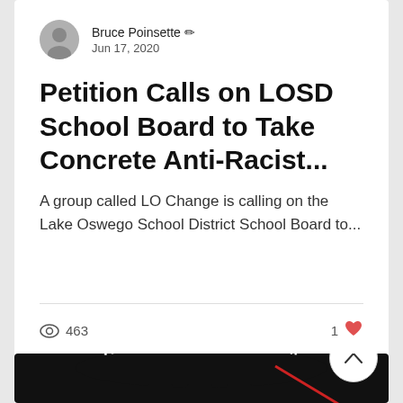Bruce Poinsette ✏ Jun 17, 2020
Petition Calls on LOSD School Board to Take Concrete Anti-Racist...
A group called LO Change is calling on the Lake Oswego School District School Board to...
463 views · 1 like
[Figure (photo): Black and white graphic showing fists raised with text 'RESPOND TO RACISM' curved around the top]